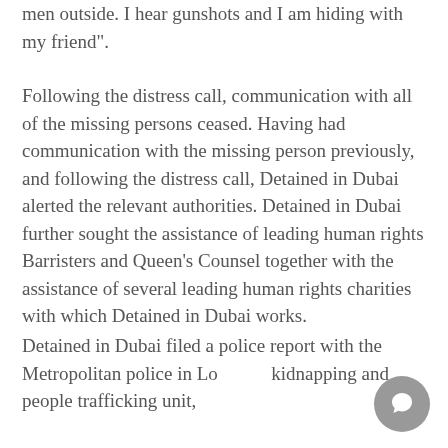men outside. I hear gunshots and I am hiding with my friend".
Following the distress call, communication with all of the missing persons ceased. Having had communication with the missing person previously, and following the distress call, Detained in Dubai alerted the relevant authorities. Detained in Dubai further sought the assistance of leading human rights Barristers and Queen's Counsel together with the assistance of several leading human rights charities with which Detained in Dubai works.
Detained in Dubai filed a police report with the Metropolitan police in London's kidnapping and people trafficking unit,